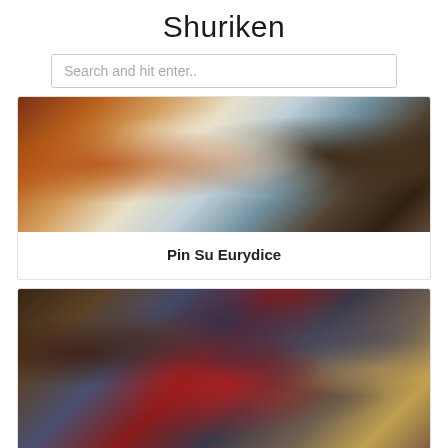Shuriken
Search and hit enter..
[Figure (photo): Classical painting detail showing figures in dramatic poses with rich colors — reds, whites, blues, and dark browns suggesting a mythological or biblical scene.]
Pin Su Eurydice
[Figure (photo): Japanese ukiyo-e style illustration showing a samurai warrior in armor with red cape surrounded by many figures including angels, set against a blue circular mandala or halo background.]